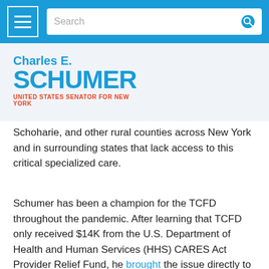Charles E. Schumer — United States Senator for New York — Navigation bar with search
Charles E.
SCHUMER
UNITED STATES SENATOR FOR NEW YORK
Schoharie, and other rural counties across New York and in surrounding states that lack access to this critical specialized care.
Schumer has been a champion for the TCFD throughout the pandemic. After learning that TCFD only received $14K from the U.S. Department of Health and Human Services (HHS)  CARES Act Provider Relief Fund, he brought the issue directly to Secretary Azar at HHS, eventually deliver over $1M to TCFD. Furthermore, the Senator helped TCFD cut through red tape with the Federal Emergency Management Agency (FEMA) securing